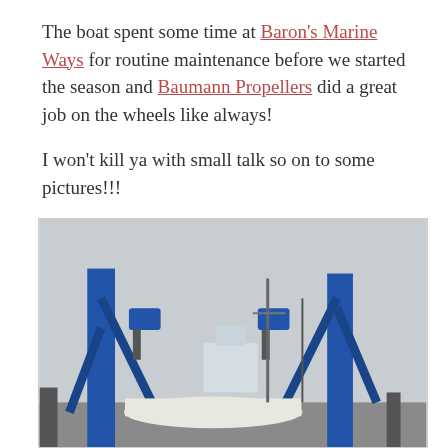The boat spent some time at Baron's Marine Ways for routine maintenance before we started the season and Baumann Propellers did a great job on the wheels like always!

I won't kill ya with small talk so on to some pictures!!!
[Figure (photo): Photograph of a large blue boat travel lift / marine crane hoist at a boatyard (Baron's Marine Ways). The blue steel A-frame gantry crane dominates the image with diagonal support struts. In the background, boats including a sport fishing vessel and sailboat masts are visible under an overcast grey sky.]